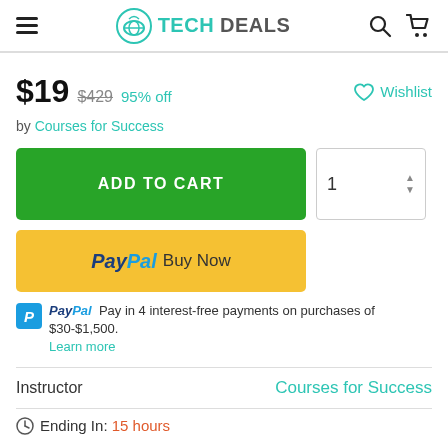TechDeals
$19  $429  95% off    ♡ Wishlist
by Courses for Success
ADD TO CART  [quantity: 1]
PayPal Buy Now
PayPal  Pay in 4 interest-free payments on purchases of $30-$1,500. Learn more
Instructor    Courses for Success
⊙ Ending In: 15 hours